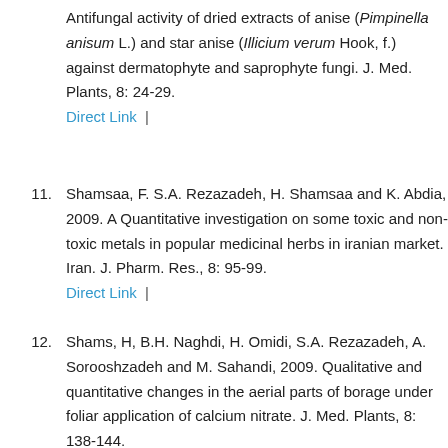Antifungal activity of dried extracts of anise (Pimpinella anisum L.) and star anise (Illicium verum Hook, f.) against dermatophyte and saprophyte fungi. J. Med. Plants, 8: 24-29. Direct Link |
11. Shamsaa, F. S.A. Rezazadeh, H. Shamsaa and K. Abdia, 2009. A Quantitative investigation on some toxic and non-toxic metals in popular medicinal herbs in iranian market. Iran. J. Pharm. Res., 8: 95-99. Direct Link |
12. Shams, H, B.H. Naghdi, H. Omidi, S.A. Rezazadeh, A. Sorooshzadeh and M. Sahandi, 2009. Qualitative and quantitative changes in the aerial parts of borage under foliar application of calcium nitrate. J. Med. Plants, 8: 138-144. Direct Link |